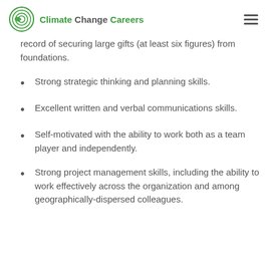Climate Change Careers
record of securing large gifts (at least six figures) from foundations.
Strong strategic thinking and planning skills.
Excellent written and verbal communications skills.
Self-motivated with the ability to work both as a team player and independently.
Strong project management skills, including the ability to work effectively across the organization and among geographically-dispersed colleagues.